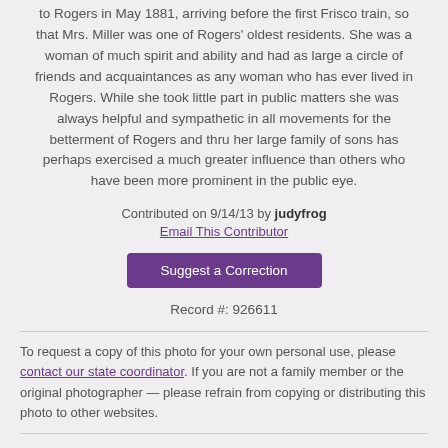to Rogers in May 1881, arriving before the first Frisco train, so that Mrs. Miller was one of Rogers' oldest residents. She was a woman of much spirit and ability and had as large a circle of friends and acquaintances as any woman who has ever lived in Rogers. While she took little part in public matters she was always helpful and sympathetic in all movements for the betterment of Rogers and thru her large family of sons has perhaps exercised a much greater influence than others who have been more prominent in the public eye.
Contributed on 9/14/13 by judyfrog
Email This Contributor
Suggest a Correction
Record #: 926611
To request a copy of this photo for your own personal use, please contact our state coordinator. If you are not a family member or the original photographer — please refrain from copying or distributing this photo to other websites.